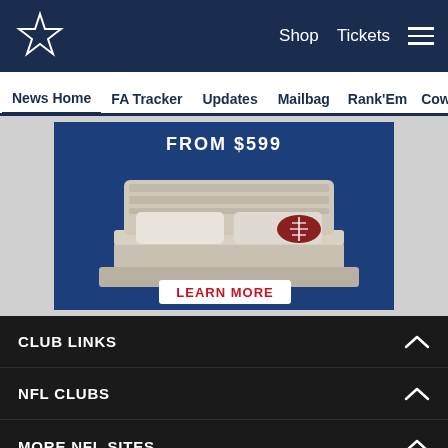Dallas Cowboys navigation bar with logo, Shop, Tickets, hamburger menu
News Home | FA Tracker | Updates | Mailbag | Rank'Em | Cowbuz
[Figure (photo): Advertisement image showing a bed/mattress with a football on it and 'LEARN MORE' button, set against a blue NFL-themed background with text 'FROM $599']
CLUB LINKS (expandable section with chevron up icon)
NFL CLUBS (expandable section with chevron up icon)
MORE NFL SITES (expandable section with chevron up icon)
Social share icons: Facebook, Twitter, Email, Link